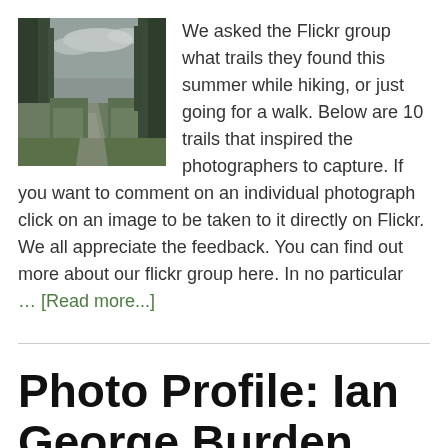[Figure (photo): A forest trail path leading between tall trees into a meadow, with cloudy sky overhead. Desaturated/muted color tone.]
We asked the Flickr group what trails they found this summer while hiking, or just going for a walk.  Below are 10 trails that inspired the photographers to capture. If you want to comment on an individual photograph click on an image to be taken to it directly on Flickr. We all appreciate the feedback. You can find out more about our flickr group here. In no particular … [Read more...]
Photo Profile: Ian George Burden
By Scott — Leave a Comment